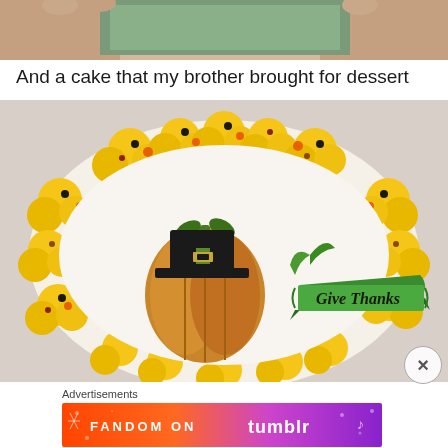[Figure (photo): Partial photo at top of page showing hands holding something, cropped view]
And a cake that my brother brought for dessert
[Figure (photo): Photo of a decorated cake with yellow frosting rosettes around the border and a Thanksgiving-themed decoration in the center showing a pumpkin with a pilgrim hat and a banner that reads 'Give Thanks']
Advertisements
[Figure (other): Fandom on Tumblr advertisement banner with colorful gradient background]